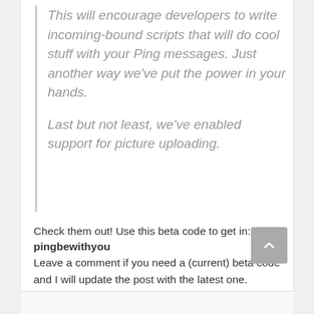This will encourage developers to write incoming-bound scripts that will do cool stuff with your Ping messages. Just another way we've put the power in your hands.

Last but not least, we've enabled support for picture uploading.
Check them out! Use this beta code to get in: pingbewithyou Leave a comment if you need a (current) beta code and I will update the post with the latest one.